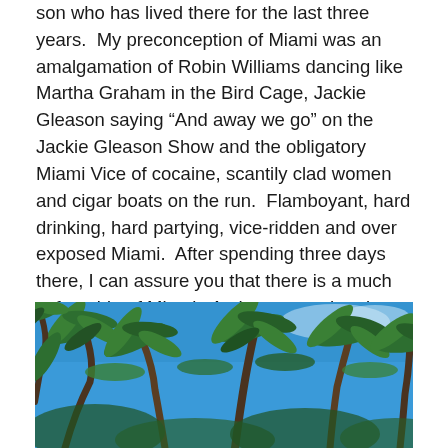son who has lived there for the last three years.  My preconception of Miami was an amalgamation of Robin Williams dancing like Martha Graham in the Bird Cage, Jackie Gleason saying “And away we go” on the Jackie Gleason Show and the obligatory Miami Vice of cocaine, scantily clad women and cigar boats on the run.  Flamboyant, hard drinking, hard partying, vice-ridden and over exposed Miami.  After spending three days there, I can assure you that there is a much softer side of Miami.  An honest, authentic side.  The side that rarely gets any airtime.
[Figure (photo): Photo of palm trees swaying against a bright blue sky, taken from below looking up.]